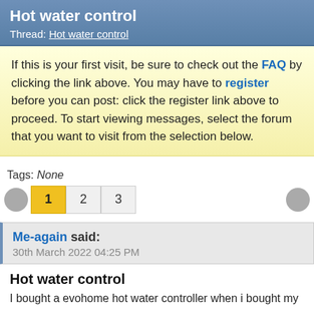Hot water control
Thread: Hot water control
If this is your first visit, be sure to check out the FAQ by clicking the link above. You may have to register before you can post: click the register link above to proceed. To start viewing messages, select the forum that you want to visit from the selection below.
Tags: None
1 2 3
Me-again said:
30th March 2022 04:25 PM
Hot water control
I bought a evohome hot water controller when i bought my